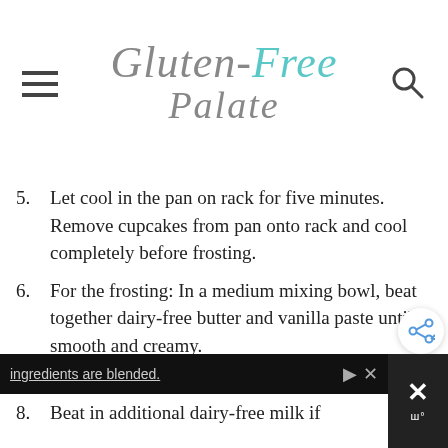Gluten-Free Palate
5. Let cool in the pan on rack for five minutes. Remove cupcakes from pan onto rack and cool completely before frosting.
6. For the frosting: In a medium mixing bowl, beat together dairy-free butter and vanilla paste until smooth and creamy.
7. Gradually add powdered sugar, one cup at a time, beating well. Alternate one cup of powdered sugar and 1 tablespoon of dairy-free milk until all ingredients are blended.
8. Beat in additional dairy-free milk if